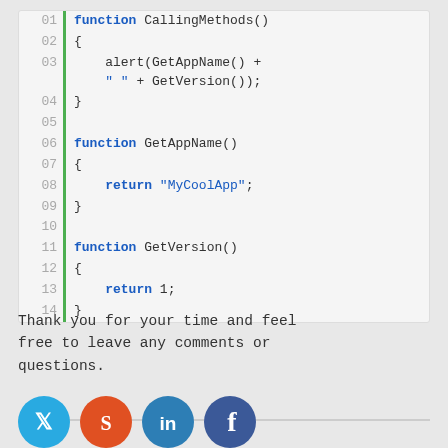[Figure (screenshot): Code block showing JavaScript functions: CallingMethods(), GetAppName(), and GetVersion() with line numbers 01-14 and a green left border]
Thank you for your time and feel free to leave any comments or questions.
[Figure (other): Social media icons: Twitter (blue), StumbleUpon (orange-red), LinkedIn (blue), Facebook (dark blue)]